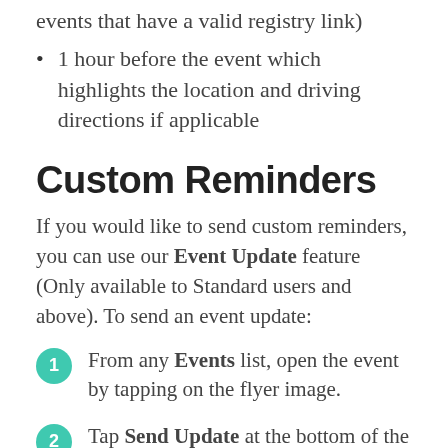events that have a valid registry link)
1 hour before the event which highlights the location and driving directions if applicable
Custom Reminders
If you would like to send custom reminders, you can use our Event Update feature (Only available to Standard users and above). To send an event update:
From any Events list, open the event by tapping on the flyer image.
Tap Send Update at the bottom of the screen.
Type your update. You can select who the update goes to based on their